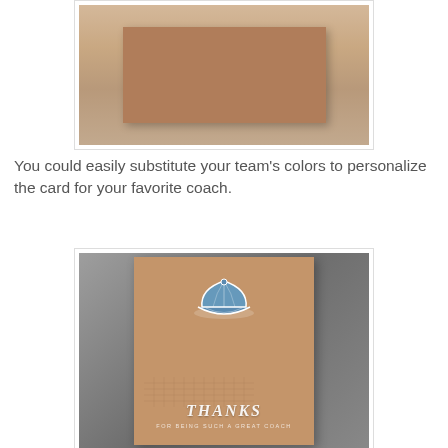[Figure (photo): Photo of a kraft paper card blank centered on a craft paper background, showing the plain front of a card]
You could easily substitute your team's colors to personalize the card for your favorite coach.
[Figure (photo): Photo of a completed coach thank-you card on kraft paper background, featuring a blue baseball cap embellishment and stamped text reading THANKS FOR BEING SUCH A GREAT COACH]